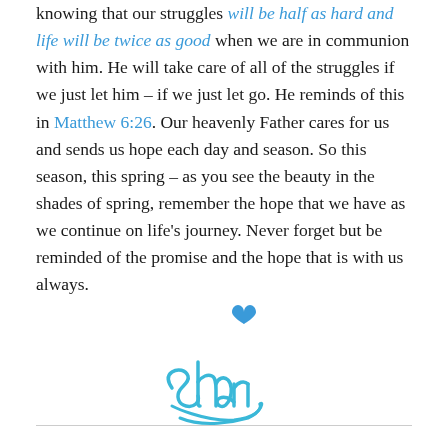knowing that our struggles will be half as hard and life will be twice as good when we are in communion with him. He will take care of all of the struggles if we just let him – if we just let go. He reminds of this in Matthew 6:26. Our heavenly Father cares for us and sends us hope each day and season. So this season, this spring – as you see the beauty in the shades of spring, remember the hope that we have as we continue on life's journey. Never forget but be reminded of the promise and the hope that is with us always.
[Figure (illustration): Handwritten cursive signature reading 'Shari' in turquoise/cyan ink with a blue heart above the letter i]